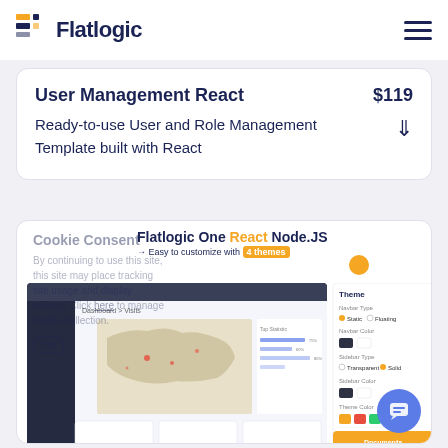[Figure (logo): Flatlogic logo with colored icon squares and bold dark blue text]
User Management React
$119
Ready-to-use User and Role Management Template built with React
[Figure (screenshot): Flatlogic One React Node.JS product screenshot showing dashboard with map, charts, and theme customization panel. Cookie Consent overlay text visible.]